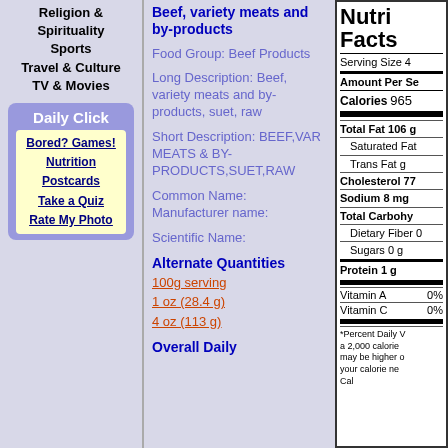Religion & Spirituality
Sports
Travel & Culture
TV & Movies
Daily Click
Bored? Games!
Nutrition
Postcards
Take a Quiz
Rate My Photo
Beef, variety meats and by-products
Food Group: Beef Products
Long Description: Beef, variety meats and by-products, suet, raw
Short Description: BEEF,VAR MEATS & BY-PRODUCTS,SUET,RAW
Common Name:
Manufacturer name:
Scientific Name:
Alternate Quantities
100g serving
1 oz (28.4 g)
4 oz (113 g)
Overall Daily
[Figure (other): Nutrition Facts label showing: Serving Size 4, Amount Per Serving, Calories 965, Total Fat 106 g, Saturated Fat, Trans Fat g, Cholesterol 77, Sodium 8 mg, Total Carbohydrates, Dietary Fiber 0, Sugars 0 g, Protein 1 g, Vitamin A 0%, Vitamin C 0%, footnote about percent daily values based on 2000 calorie diet]